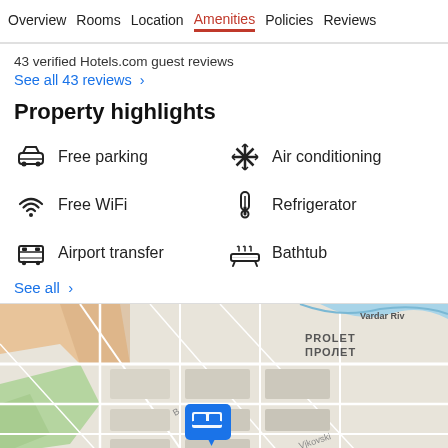Overview  Rooms  Location  Amenities  Policies  Reviews
43 verified Hotels.com guest reviews
See all 43 reviews  >
Property highlights
Free parking
Air conditioning
Free WiFi
Refrigerator
Airport transfer
Bathtub
See all  >
[Figure (map): Map showing hotel location near PROLET/ПРОЛЕТ area and Vardar River, with hotel pin marker, and AERODROM/АЕРОДРОМ label visible]